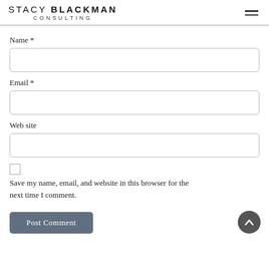STACY BLACKMAN CONSULTING
Name *
Email *
Web site
Save my name, email, and website in this browser for the next time I comment.
Post Comment